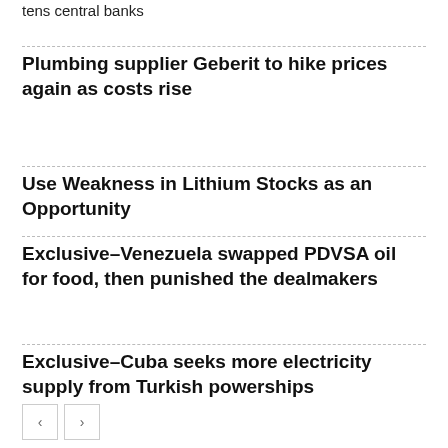tens central banks
Plumbing supplier Geberit to hike prices again as costs rise
Use Weakness in Lithium Stocks as an Opportunity
Exclusive–Venezuela swapped PDVSA oil for food, then punished the dealmakers
Exclusive–Cuba seeks more electricity supply from Turkish powerships